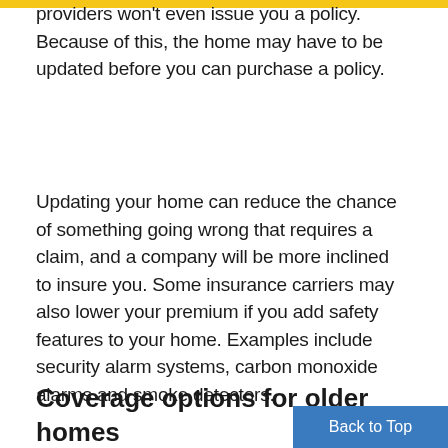providers won't even issue you a policy. Because of this, the home may have to be updated before you can purchase a policy.
Updating your home can reduce the chance of something going wrong that requires a claim, and a company will be more inclined to insure you. Some insurance carriers may also lower your premium if you add safety features to your home. Examples include security alarm systems, carbon monoxide alarms and smoke detectors.
Coverage options for older homes